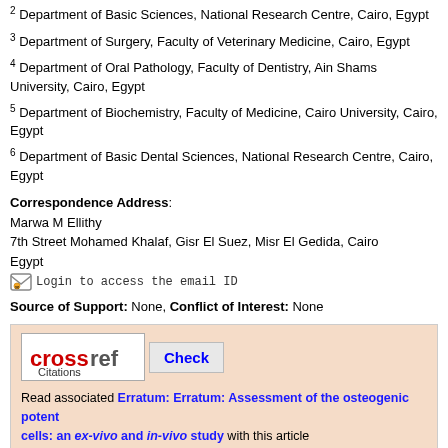2 Department of Basic Sciences, National Research Centre, Cairo, Egypt
3 Department of Surgery, Faculty of Veterinary Medicine, Cairo, Egypt
4 Department of Oral Pathology, Faculty of Dentistry, Ain Shams University, Cairo, Egypt
5 Department of Biochemistry, Faculty of Medicine, Cairo University, Cairo, Egypt
6 Department of Basic Dental Sciences, National Research Centre, Cairo, Egypt
Correspondence Address:
Marwa M Ellithy
7th Street Mohamed Khalaf, Gisr El Suez, Misr El Gedida, Cairo
Egypt
Login to access the email ID
Source of Support: None, Conflict of Interest: None
[Figure (infographic): Crossref Citations badge with Check button and erratum link: 'Read associated Erratum: Erratum: Assessment of the osteogenic potent cells: an ex-vivo and in-vivo study with this article']
DOI: 10.4103/1687-4293.159374
[Figure (infographic): Button: Get Permissions for commercial use with copyright symbol, dark blue/purple rounded rectangle]